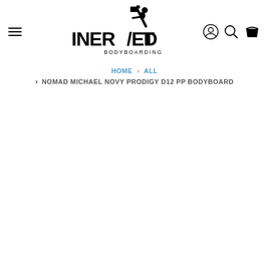[Figure (logo): Inverted Bodyboarding logo — silhouette of person doing a flip above stylized bold text 'INVERTED BODYBOARDING']
HOME > ALL > NOMAD MICHAEL NOVY PRODIGY D12 PP BODYBOARD